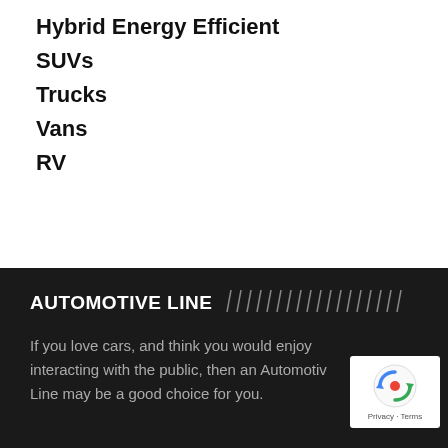Hybrid Energy Efficient
SUVs
Trucks
Vans
RV
AUTOMOTIVE LINE
If you love cars, and think you would enjoy interacting with the public, then an Automotive Line may be a good choice for you.